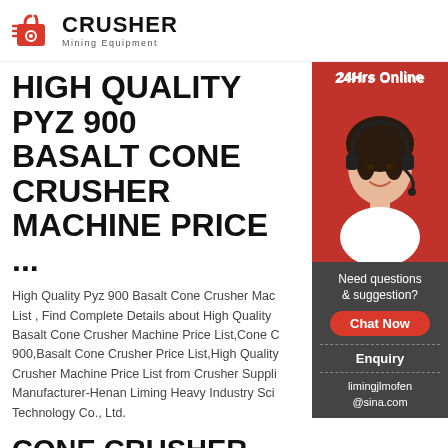CRUSHER Mining Equipment
HIGH QUALITY PYZ 900 BASALT CONE CRUSHER MACHINE PRICE ...
High Quality Pyz 900 Basalt Cone Crusher Machine Price List , Find Complete Details about High Quality Basalt Cone Crusher Machine Price List,Cone C 900,Basalt Cone Crusher Price List,High Quality Crusher Machine Price List from Crusher Suppli Manufacturer-Henan Liming Heavy Industry Sci Technology Co., Ltd.
CONE CRUSHER CHINA 900 IN MONGOLIA – K HEAVY MACHINERY
cone crusher sdfmachine pyz 900. City Py Sprin Crusher Pyz 900 Bebon Crusher. We are a largestcale
[Figure (screenshot): 24Hrs Online customer service banner with photo of woman wearing headset, red background at top, dark grey background below with 'Need questions & suggestion?', red 'Chat Now' button, 'Enquiry' text, dashed dividers, and 'limingjlmofen@sina.com' contact email.]